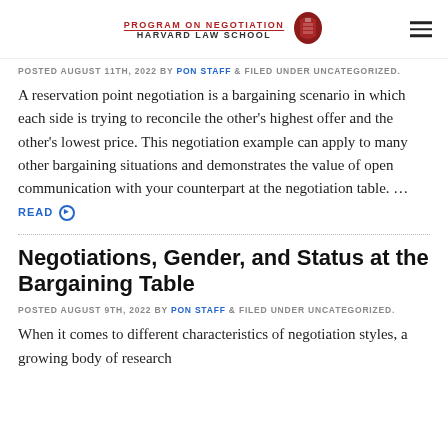PROGRAM ON NEGOTIATION HARVARD LAW SCHOOL
POSTED AUGUST 11TH, 2022 BY PON STAFF & FILED UNDER UNCATEGORIZED.
A reservation point negotiation is a bargaining scenario in which each side is trying to reconcile the other's highest offer and the other's lowest price. This negotiation example can apply to many other bargaining situations and demonstrates the value of open communication with your counterpart at the negotiation table. ... READ
Negotiations, Gender, and Status at the Bargaining Table
POSTED AUGUST 9TH, 2022 BY PON STAFF & FILED UNDER UNCATEGORIZED.
When it comes to different characteristics of negotiation styles, a growing body of research